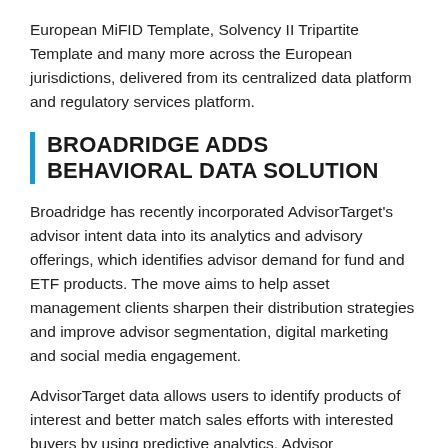European MiFID Template, Solvency II Tripartite Template and many more across the European jurisdictions, delivered from its centralized data platform and regulatory services platform.
BROADRIDGE ADDS BEHAVIORAL DATA SOLUTION
Broadridge has recently incorporated AdvisorTarget's advisor intent data into its analytics and advisory offerings, which identifies advisor demand for fund and ETF products. The move aims to help asset management clients sharpen their distribution strategies and improve advisor segmentation, digital marketing and social media engagement.
AdvisorTarget data allows users to identify products of interest and better match sales efforts with interested buyers by using predictive analytics. Advisor segmentation, scoring and customer journey mapping optimize data driven distribution strategies for asset managers. The addition of advisor behavioral data will inform strategies based on both